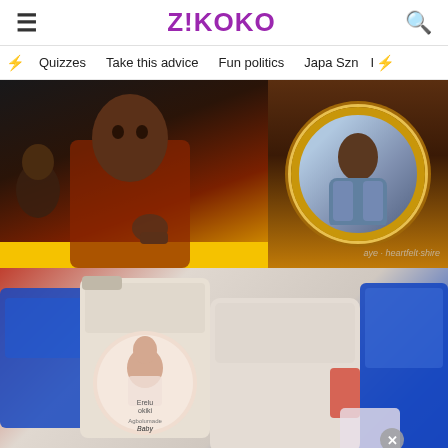Z!KOKO
Quizzes   Take this advice   Fun politics   Japa Szn
[Figure (photo): Split image: left side shows a man in red jacket with intense look and child in background against dark/yellow background; right side shows a woman's portrait in ornate gold circular frame on dark background]
[Figure (photo): Photo of plastic jerry cans/containers with a circular label featuring a baby portrait, displayed among blue and red plastic items]
QUIZZE
QUIZ:
[Figure (infographic): Advertisement banner: MEN'S WEARHOUSE New Lower Prices — Joseph & Feiss Boy's Black Suit $69.99]